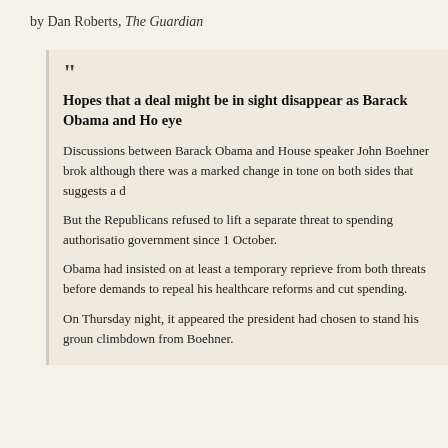by Dan Roberts, The Guardian
Hopes that a deal might be in sight disappear as Barack Obama and Ho eye
Discussions between Barack Barack Obama and House speaker John Boehner brok although there was a marked change in tone on both sides that suggests a d
But the Republicans refused to lift a separate threat to spending authorisatio government since 1 October.
Obama had insisted on at least a temporary reprieve from both threats before demands to repeal his healthcare reforms and cut spending.
On Thursday night, it appeared the president had chosen to stand his groun climbdown from Boehner.
The game continues and no one is hitting the brake.
Tags: Christine Lagarde, Congressional Game of Chicken, David Dayen, Debt Ceiling, default, Economy, Elizabeth Warren, Politics, Republicans, Tea Party, TMC Politics
Lagarde the New Head of the IMF
Uncategorized